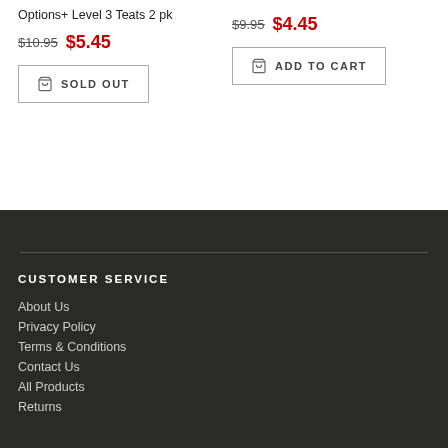Options+ Level 3 Teats 2 pk
$10.95  $5.45
SOLD OUT
$9.95  $4.45
ADD TO CART
CUSTOMER SERVICE
About Us
Privacy Policy
Terms & Conditions
Contact Us
All Products
Returns